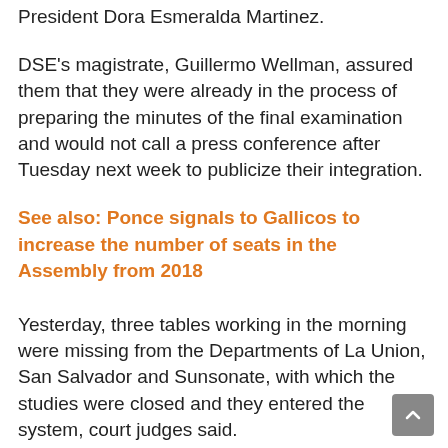President Dora Esmeralda Martinez.
DSE's magistrate, Guillermo Wellman, assured them that they were already in the process of preparing the minutes of the final examination and would not call a press conference after Tuesday next week to publicize their integration.
See also: Ponce signals to Gallicos to increase the number of seats in the Assembly from 2018
Yesterday, three tables working in the morning were missing from the Departments of La Union, San Salvador and Sunsonate, with which the studies were closed and they entered the system, court judges said.
“The law establishes that we are going to carry out a national channel, with four votes, that is, until next week, to create the